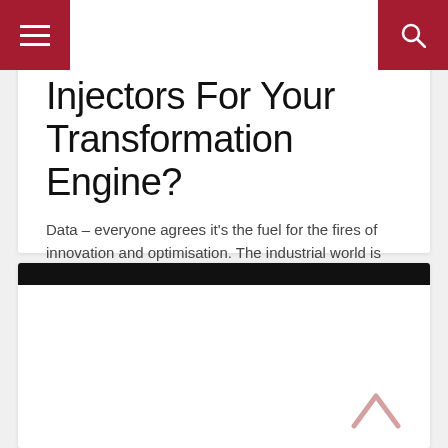Menu | Search
Injectors For Your Transformation Engine?
Data – everyone agrees it's the fuel for the fires of innovation and optimisation. The industrial world is blessed with
Read more
[Figure (other): Bottom card with dark header bar and a pink chevron-up arrow icon in the lower right corner]